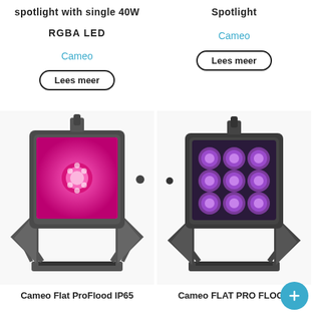spotlight with single 40W
RGBA LED
Cameo
Lees meer
Spotlight
Cameo
Lees meer
[Figure (photo): Photo of Cameo Flat ProFlood IP65 lighting fixture with pink/magenta LED panel, mounted on a bracket stand]
[Figure (photo): Photo of Cameo FLAT PRO FLOOD lighting fixture with multiple purple LED lenses, mounted on a bracket stand]
Cameo Flat ProFlood IP65
Cameo FLAT PRO FLOOD